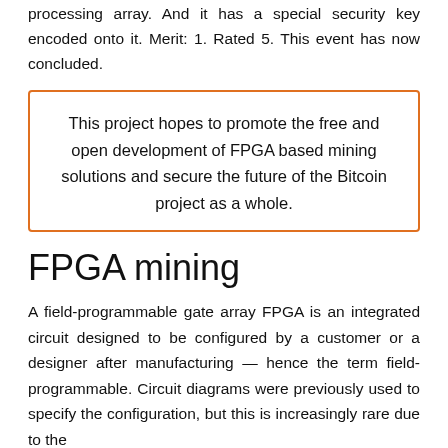processing array. And it has a special security key encoded onto it. Merit: 1. Rated 5. This event has now concluded.
This project hopes to promote the free and open development of FPGA based mining solutions and secure the future of the Bitcoin project as a whole.
FPGA mining
A field-programmable gate array FPGA is an integrated circuit designed to be configured by a customer or a designer after manufacturing — hence the term field-programmable. Circuit diagrams were previously used to specify the configuration, but this is increasingly rare due to the